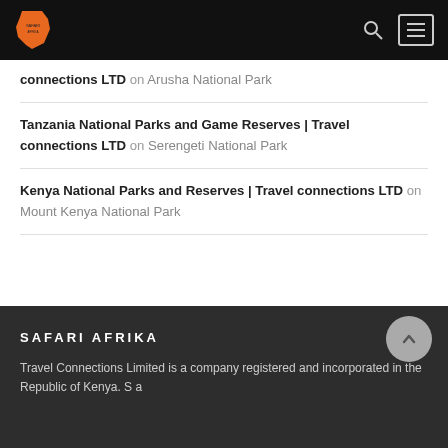Safari Afrika – Travel connections LTD navigation header
Tanzania National Parks and Game Reserves | Travel connections LTD on Arusha National Park
Tanzania National Parks and Game Reserves | Travel connections LTD on Serengeti National Park
Kenya National Parks and Reserves | Travel connections LTD on Mount Kenya National Park
SAFARI AFRIKA
Travel Connections Limited is a company registered and incorporated in the Republic of Kenya. S a...